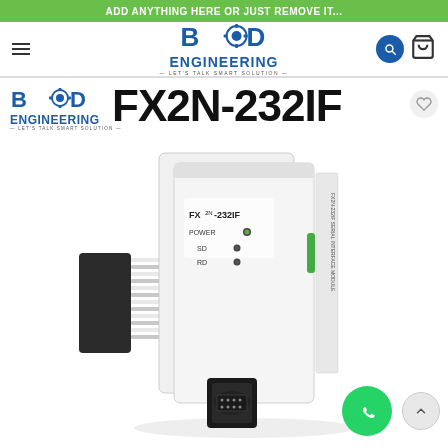ADD ANYTHING HERE OR JUST REMOVE IT...
[Figure (logo): BD Engineering logo with gear icon, blue text ENGINEERING, tagline LET'S TALK SMART SOLUTION]
[Figure (logo): BD Engineering watermark logo overlaid on product image area]
FX2N-232IF
[Figure (photo): Photo of Mitsubishi FX2N-232IF serial communication module, white unit with POWER, SD, RD indicator LEDs, ribbon cable connector visible on left side, DIN rail connector at bottom, side label text visible on right]
[Figure (logo): WhatsApp contact button (green circle with phone icon)]